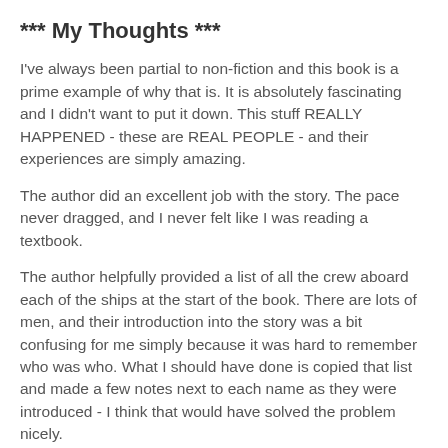*** My Thoughts ***
I've always been partial to non-fiction and this book is a prime example of why that is. It is absolutely fascinating and I didn't want to put it down. This stuff REALLY HAPPENED - these are REAL PEOPLE - and their experiences are simply amazing.
The author did an excellent job with the story. The pace never dragged, and I never felt like I was reading a textbook.
The author helpfully provided a list of all the crew aboard each of the ships at the start of the book. There are lots of men, and their introduction into the story was a bit confusing for me simply because it was hard to remember who was who. What I should have done is copied that list and made a few notes next to each name as they were introduced - I think that would have solved the problem nicely.
Here are some random things I'd like to remember from this book: